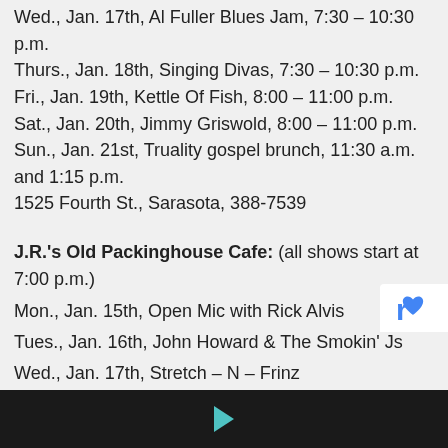Wed., Jan. 17th, Al Fuller Blues Jam, 7:30 – 10:30 p.m.
Thurs., Jan. 18th, Singing Divas, 7:30 – 10:30 p.m.
Fri., Jan. 19th, Kettle Of Fish, 8:00 – 11:00 p.m.
Sat., Jan. 20th, Jimmy Griswold, 8:00 – 11:00 p.m.
Sun., Jan. 21st, Truality gospel brunch, 11:30 a.m. and 1:15 p.m.
1525 Fourth St., Sarasota, 388-7539
J.R.'s Old Packinghouse Cafe: (all shows start at 7:00 p.m.)
Mon., Jan. 15th, Open Mic with Rick Alvis
Tues., Jan. 16th, John Howard & The Smokin' Js
Wed., Jan. 17th, Stretch – N – Frinz
Thurs., Jan. 18th, Pete & Stretch
Fri., Jan. 19th, The Plaiders